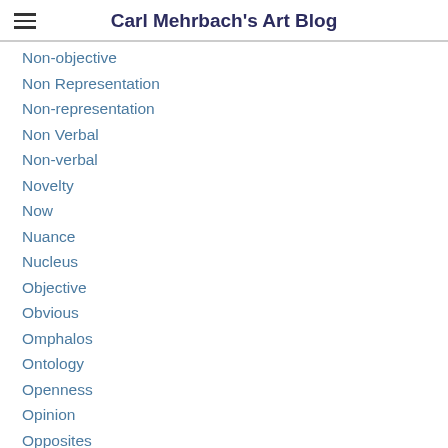Carl Mehrbach's Art Blog
Non-objective
Non Representation
Non-representation
Non Verbal
Non-verbal
Novelty
Now
Nuance
Nucleus
Objective
Obvious
Omphalos
Ontology
Openness
Opinion
Opposites
Optimism
Order